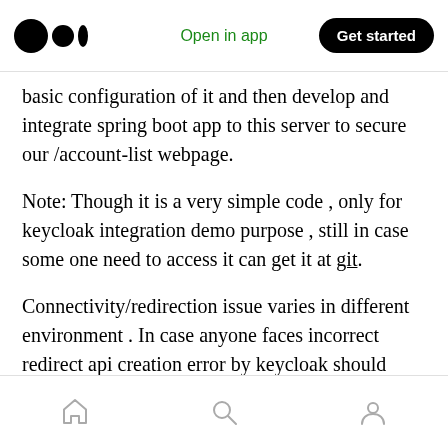Open in app | Get started
basic configuration of it and then develop and integrate spring boot app to this server to secure our /account-list webpage.
Note: Though it is a very simple code , only for keycloak integration demo purpose , still in case some one need to access it can get it at git.
Connectivity/redirection issue varies in different environment . In case anyone faces incorrect redirect api creation error by keycloak should consider to visit this-page.
home | search | profile